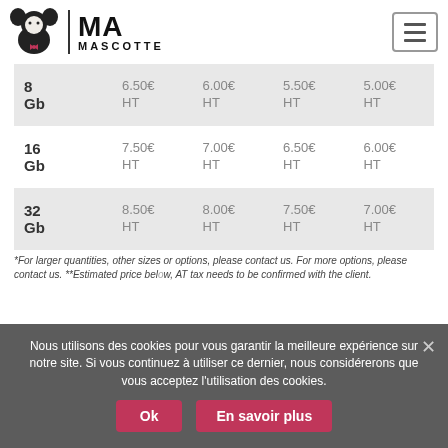[Figure (logo): Ma Mascotte logo with mascot character, vertical divider, MA in large bold text, MASCOTTE in small caps below]
| 8 Gb | 6.50€ HT | 6.00€ HT | 5.50€ HT | 5.00€ HT |
| 16 Gb | 7.50€ HT | 7.00€ HT | 6.50€ HT | 6.00€ HT |
| 32 Gb | 8.50€ HT | 8.00€ HT | 7.50€ HT | 7.00€ HT |
*For larger quantities, other sizes or options, please contact us. For more options, please contact us. **Estimated price below, AT tax needs to be confirmed with the client.
Nous utilisons des cookies pour vous garantir la meilleure expérience sur notre site. Si vous continuez à utiliser ce dernier, nous considérerons que vous acceptez l'utilisation des cookies.